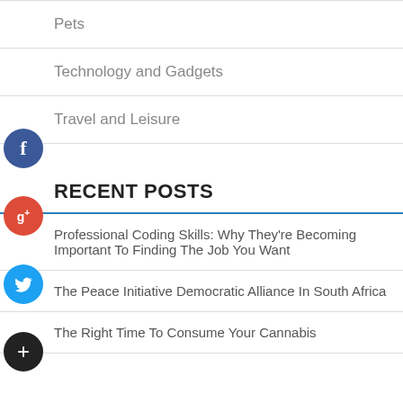Pets
Technology and Gadgets
Travel and Leisure
RECENT POSTS
Professional Coding Skills: Why They’re Becoming Important To Finding The Job You Want
The Peace Initiative Democratic Alliance In South Africa
The Right Time To Consume Your Cannabis